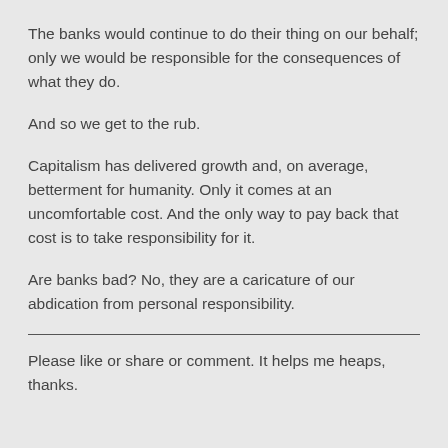The banks would continue to do their thing on our behalf; only we would be responsible for the consequences of what they do.
And so we get to the rub.
Capitalism has delivered growth and, on average, betterment for humanity. Only it comes at an uncomfortable cost. And the only way to pay back that cost is to take responsibility for it.
Are banks bad? No, they are a caricature of our abdication from personal responsibility.
Please like or share or comment. It helps me heaps, thanks.